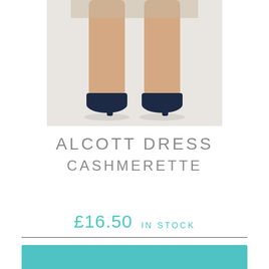[Figure (photo): Cropped photo of a person's legs from mid-thigh down, wearing a short skirt/dress and navy blue heeled pumps, standing on a light grey/white surface.]
ALCOTT DRESS
CASHMERETTE
£16.50 IN STOCK
[Figure (photo): Partial view of a teal/aqua blue banner or image at the bottom of the page.]